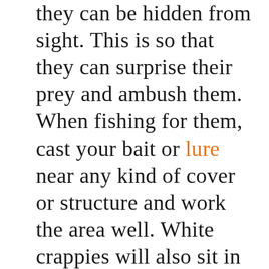they can be hidden from sight. This is so that they can surprise their prey and ambush them. When fishing for them, cast your bait or lure near any kind of cover or structure and work the area well. White crappies will also sit in open water, so if you're fishing a white crappie area then don't be scared to throw some baits into the open. Crappies are a schooling fish so if you find a hot spot, keep fishing it until they work out something is wrong.